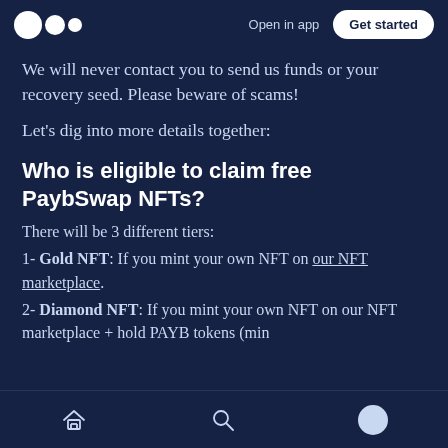Open in app | Get started
We will never contact you to send us funds or your recovery seed. Please beware of scams!
Let’s dig into more details together:
Who is eligible to claim free PaybSwap NFTs?
There will be 3 different tiers:
1- Gold NFT: If you mint your own NFT on our NFT marketplace.
2- Diamond NFT: If you mint your own NFT on our NFT marketplace + hold PAYB tokens (min
Home | Search | Profile